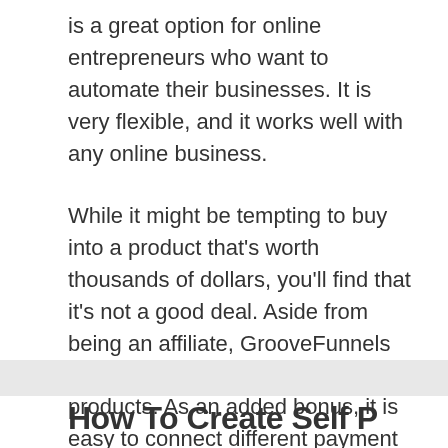is a great option for online entrepreneurs who want to automate their businesses. It is very flexible, and it works well with any online business.
While it might be tempting to buy into a product that's worth thousands of dollars, you'll find that it's not a good deal. Aside from being an affiliate, GrooveFunnels also allows you to sell front-end products. As an added bonus, it is easy to connect different payment gateways to your funnels. You can also create a thank-you page as an added bonus.
How To Create Self P...